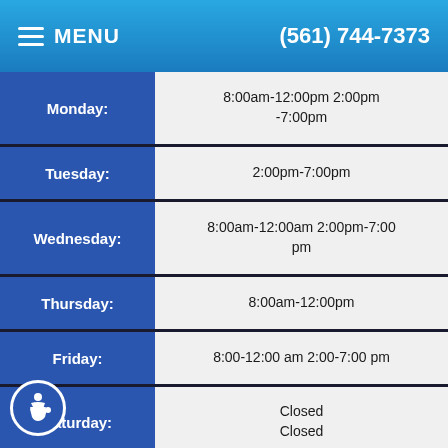MENU  (561) 744-7373
| Day | Hours |
| --- | --- |
| Monday: | 8:00am-12:00pm 2:00pm-7:00pm |
| Tuesday: | 2:00pm-7:00pm |
| Wednesday: | 8:00am-12:00am 2:00pm-7:00pm |
| Thursday: | 8:00am-12:00pm |
| Friday: | 8:00-12:00 am 2:00-7:00 pm |
| Saturday: | Closed
Closed |